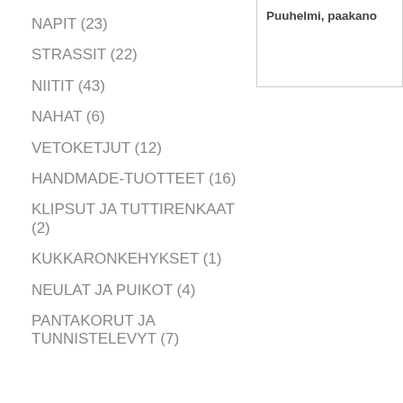Puuhelmi, paakano
NAPIT (23)
STRASSIT (22)
NIITIT (43)
NAHAT (6)
VETOKETJUT (12)
HANDMADE-TUOTTEET (16)
KLIPSUT JA TUTTIRENKAAT (2)
KUKKARONKEHYKSET (1)
NEULAT JA PUIKOT (4)
PANTAKORUT JA TUNNISTELEVYT (7)